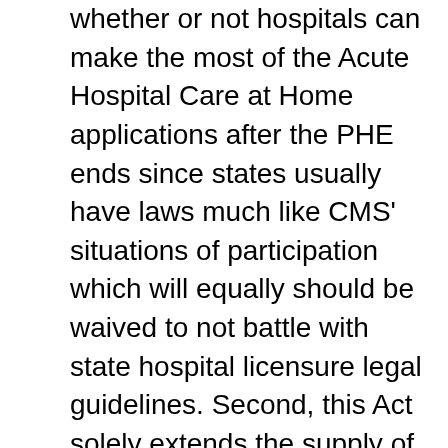whether or not hospitals can make the most of the Acute Hospital Care at Home applications after the PHE ends since states usually have laws much like CMS' situations of participation which will equally should be waived to not battle with state hospital licensure legal guidelines. Second, this Act solely extends the supply of inpatient hospital companies, which is vital since even with the just lately enacted Consolidated Appropriations Act, 2022, which would prolong the supply to supply and invoice Medicare for telehealth companies from